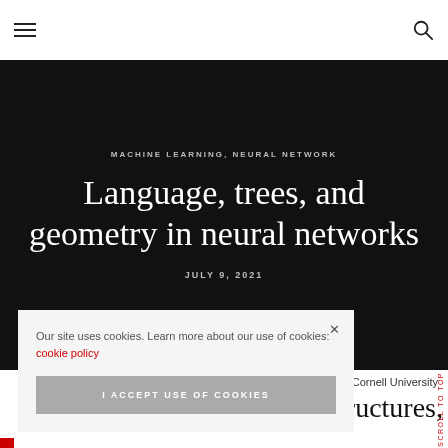Navigation bar with hamburger menu and search icon
MACHINE LEARNING, NEURAL NETWORK
Language, trees, and geometry in neural networks
JULY 9, 2021
© Cornell University
structures,
Scroll To Top
Our site uses cookies. Learn more about our use of cookies: cookie policy
I ACCEPT USE OF COOKIES